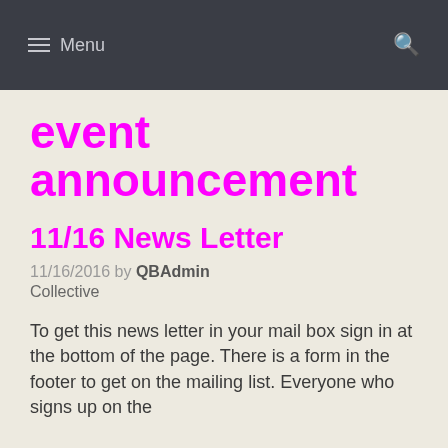≡ Menu
event announcement
11/16 News Letter
11/16/2016 by QBAdmin Collective
To get this news letter in your mail box sign in at the bottom of the page. There is a form in the footer to get on the mailing list. Everyone who signs up on the